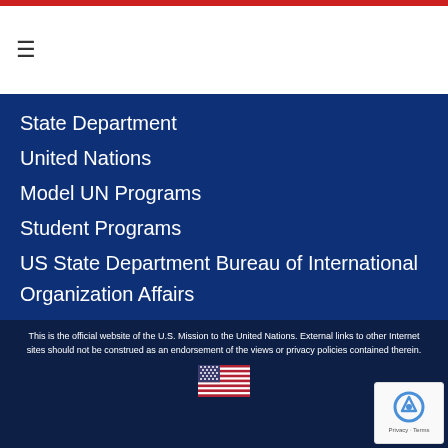≡
State Department
United Nations
Model UN Programs
Student Programs
US State Department Bureau of International Organization Affairs
Archived Content 2009-2017
This is the official website of the U.S. Mission to the United Nations. External links to other Internet sites should not be construed as an endorsement of the views or privacy policies contained therein.